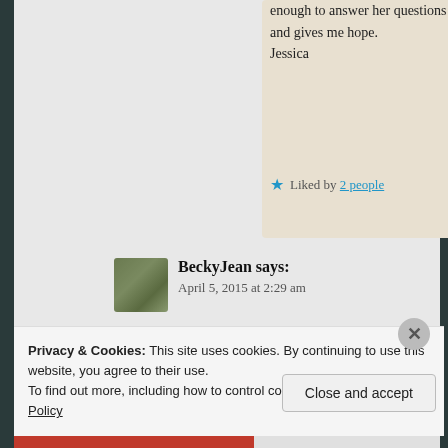enough to answer her questions! That is truly beautiful, and gives me hope.
Jessica
Liked by 2 people
BeckyJean says:
April 5, 2015 at 2:29 am
Since you asked…

While most of the world does not consider a Mormon like
Privacy & Cookies: This site uses cookies. By continuing to use this website, you agree to their use.
To find out more, including how to control cookies, see here: Cookie Policy
Close and accept